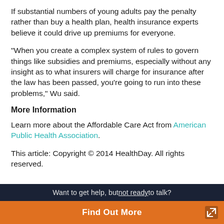If substantial numbers of young adults pay the penalty rather than buy a health plan, health insurance experts believe it could drive up premiums for everyone.
"When you create a complex system of rules to govern things like subsidies and premiums, especially without any insight as to what insurers will charge for insurance after the law has been passed, you're going to run into these problems," Wu said.
More Information
Learn more about the Affordable Care Act from American Public Health Association.
This article: Copyright © 2014 HealthDay. All rights reserved.
Want to get help, but not ready to talk? Find Out More